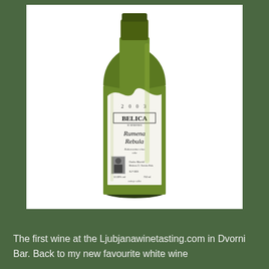[Figure (photo): A green glass wine bottle labeled 'BELICA Rumena Rebula 2003', with a white label featuring italic text and a small portrait photo. The bottle is photographed against a white background.]
The first wine at the Ljubjanawinetasting.com in Dvorni Bar. Back to my new favourite white wine